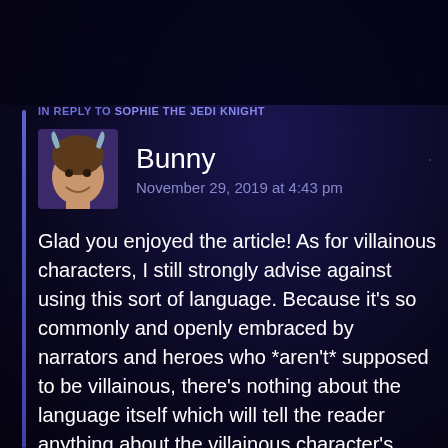IN REPLY TO SOPHIE THE JEDI KNIGHT
Bunny
November 29, 2019 at 4:43 pm
[Figure (photo): Avatar image of user Bunny showing a person with Viking/devil horns costume]
Glad you enjoyed the article! As for villainous characters, I still strongly advise against using this sort of language. Because it's so commonly and openly embraced by narrators and heroes who *aren't* supposed to be villainous, there's nothing about the language itself which will tell the reader anything about the villainous character's villainy. Sexist narration is so widespread that it won't be remarkable in its horribleness. It will likely just be another passage...